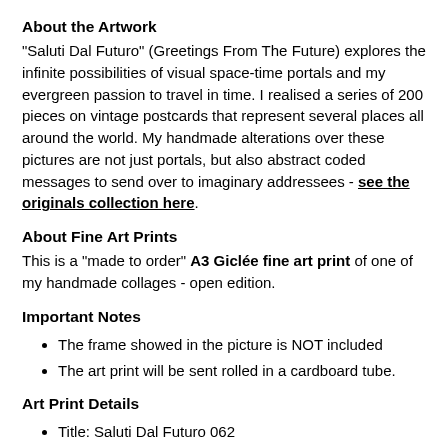About the Artwork
"Saluti Dal Futuro" (Greetings From The Future) explores the infinite possibilities of visual space-time portals and my evergreen passion to travel in time. I realised a series of 200 pieces on vintage postcards that represent several places all around the world. My handmade alterations over these pictures are not just portals, but also abstract coded messages to send over to imaginary addressees - see the originals collection here.
About Fine Art Prints
This is a "made to order" A3 Giclée fine art print of one of my handmade collages - open edition.
Important Notes
The frame showed in the picture is NOT included
The art print will be sent rolled in a cardboard tube.
Art Print Details
Title: Saluti Dal Futuro 062